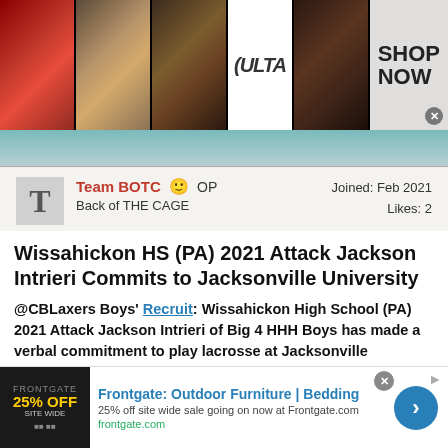[Figure (photo): Advertisement banner for ULTA Beauty with makeup imagery and SHOP NOW call to action]
[Figure (photo): Partial image of person in teal/grey tones below the ad banner]
Team BOTC 😊 OP
Back of THE CAGE
Joined: Feb 2021
Likes: 2
Wissahickon HS (PA) 2021 Attack Jackson Intrieri Commits to Jacksonville University
@CBLaxers Boys' Recruit: Wissahickon High School (PA) 2021 Attack Jackson Intrieri of Big 4 HHH Boys has made a verbal commitment to play lacrosse at Jacksonville University (JU).
High school: Wissahickon High School (Ambler, PA)
Grad year: 2021
[Figure (photo): Frontgate advertisement for Outdoor Furniture and Bedding with 25% off sitewide sale]